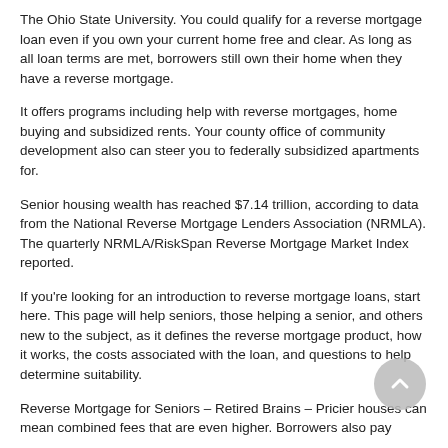The Ohio State University. You could qualify for a reverse mortgage loan even if you own your current home free and clear. As long as all loan terms are met, borrowers still own their home when they have a reverse mortgage.
It offers programs including help with reverse mortgages, home buying and subsidized rents. Your county office of community development also can steer you to federally subsidized apartments for.
Senior housing wealth has reached $7.14 trillion, according to data from the National Reverse Mortgage Lenders Association (NRMLA). The quarterly NRMLA/RiskSpan Reverse Mortgage Market Index reported.
If you're looking for an introduction to reverse mortgage loans, start here. This page will help seniors, those helping a senior, and others new to the subject, as it defines the reverse mortgage product, how it works, the costs associated with the loan, and questions to help determine suitability.
Reverse Mortgage for Seniors – Retired Brains – Pricier houses can mean combined fees that are even higher. Borrowers also pay